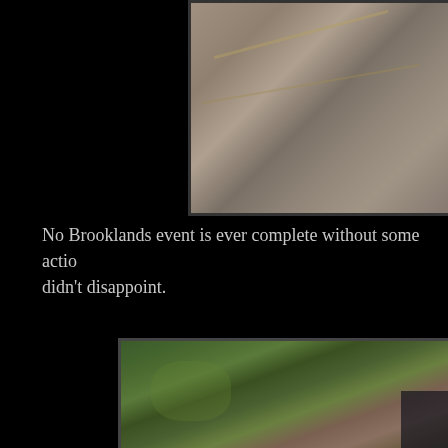[Figure (photo): Close-up photograph of a rough stone or rock surface with textured grey appearance and diagonal streaks, partially cropped at top of page]
No Brooklands event is ever complete without some actio... didn't disappoint.
[Figure (photo): Photograph showing green vegetation/weeds and grass along what appears to be a track or path edge, with darker area at lower right]